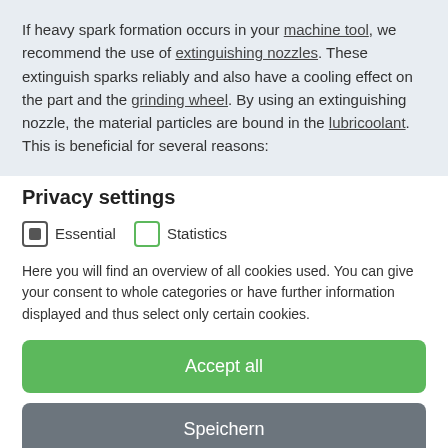If heavy spark formation occurs in your machine tool, we recommend the use of extinguishing nozzles. These extinguish sparks reliably and also have a cooling effect on the part and the grinding wheel. By using an extinguishing nozzle, the material particles are bound in the lubricoolant. This is beneficial for several reasons:
Privacy settings
Essential   Statistics
Here you will find an overview of all cookies used. You can give your consent to whole categories or have further information displayed and thus select only certain cookies.
Accept all
Speichern
Cookie Details | Data Protection Statement | Imprint